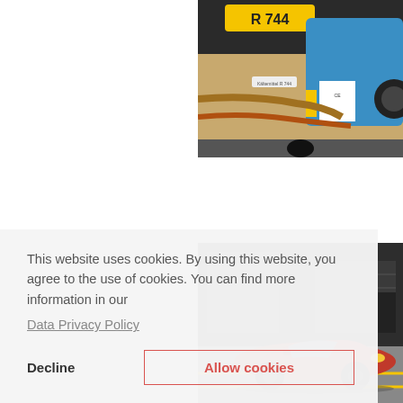[Figure (photo): Close-up photo of R744 refrigerant/CO2 equipment — yellow and blue industrial machinery with pipes, labels reading 'R 744', and a blue compressor unit with certification labels.]
[Figure (photo): Photo of a red McLaren sports car parked outside a dark-colored building/garage with a roller door, on yellow-lined pavement.]
This website uses cookies. By using this website, you agree to the use of cookies. You can find more information in our
Data Privacy Policy
Decline
Allow cookies